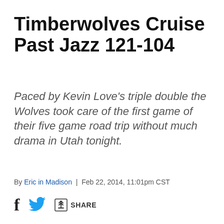Timberwolves Cruise Past Jazz 121-104
Paced by Kevin Love's triple double the Wolves took care of the first game of their five game road trip without much drama in Utah tonight.
By Eric in Madison | Feb 22, 2014, 11:01pm CST
[Figure (other): Social share icons: Facebook f, Twitter bird, share icon with SHARE label]